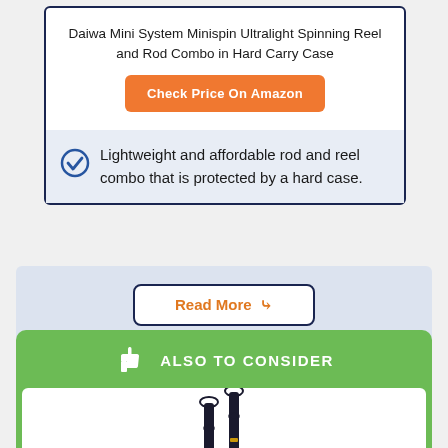Daiwa Mini System Minispin Ultralight Spinning Reel and Rod Combo in Hard Carry Case
Check Price On Amazon
Lightweight and affordable rod and reel combo that is protected by a hard case.
Read More »
ALSO TO CONSIDER
[Figure (photo): Two telescoping fishing rods shown collapsed/retracted side by side, dark colored with gold accents]